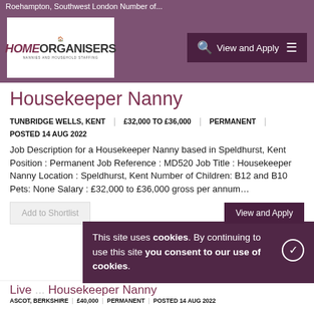Roehampton, Southwest London Number of...
[Figure (logo): Home Organisers Nannies and Household Staffing logo]
Housekeeper Nanny
TUNBRIDGE WELLS, KENT | £32,000 TO £36,000 | PERMANENT
POSTED 14 AUG 2022
Job Description for a Housekeeper Nanny based in Speldhurst, Kent Position : Permanent Job Reference : MD520 Job Title : Housekeeper Nanny Location : Speldhurst, Kent Number of Children: B12 and B10 Pets: None Salary : £32,000 to £36,000 gross per annum...
Add to Shortlist
View and Apply
This site uses cookies. By continuing to use this site you consent to our use of cookies.
Live ... Housekeeper Nanny
ASCOT, BERKSHIRE | £40,000 | PERMANENT | POSTED 14 AUG 2022